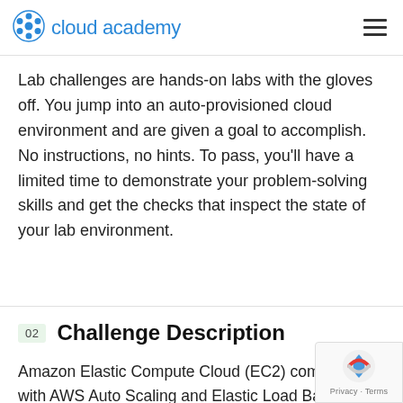cloud academy
Lab challenges are hands-on labs with the gloves off. You jump into an auto-provisioned cloud environment and are given a goal to accomplish. No instructions, no hints. To pass, you'll have a limited time to demonstrate your problem-solving skills and get the checks that inspect the state of your lab environment.
02  Challenge Description
Amazon Elastic Compute Cloud (EC2) combined with AWS Auto Scaling and Elastic Load Balancing enables you to create solutions that not only scale up to meet demand but also to optimize your resources to achieve the lowest